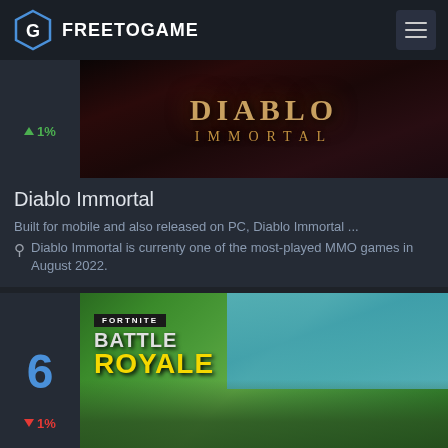FREETOGAME
[Figure (screenshot): Diablo Immortal game banner with golden stylized text on dark red/black background]
Diablo Immortal
Built for mobile and also released on PC, Diablo Immortal ...
Diablo Immortal is currenty one of the most-played MMO games in August 2022.
▲ 1%
[Figure (screenshot): Fortnite Battle Royale game banner showing characters in outdoor environment with hot air balloons]
6
▼ 1%